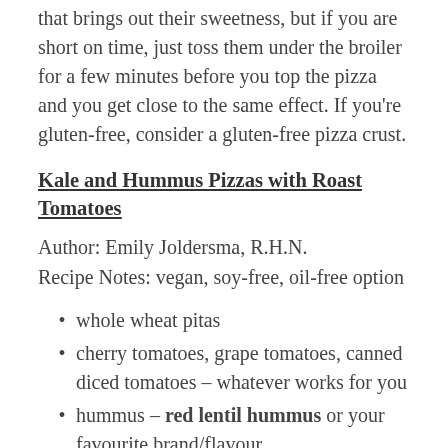that brings out their sweetness, but if you are short on time, just toss them under the broiler for a few minutes before you top the pizza and you get close to the same effect. If you're gluten-free, consider a gluten-free pizza crust.
Kale and Hummus Pizzas with Roast Tomatoes
Author: Emily Joldersma, R.H.N.
Recipe Notes: vegan, soy-free, oil-free option
whole wheat pitas
cherry tomatoes, grape tomatoes, canned diced tomatoes – whatever works for you
hummus – red lentil hummus or your favourite brand/flavour
kale, shredded